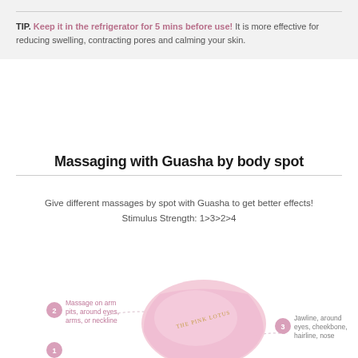TIP. Keep it in the refrigerator for 5 mins before use! It is more effective for reducing swelling, contracting pores and calming your skin.
Massaging with Guasha by body spot
Give different massages by spot with Guasha to get better effects! Stimulus Strength: 1>3>2>4
[Figure (illustration): Pink Gua Sha stone (rose quartz) with THE PINK LOTUS branding, annotated with numbered spots: 2 - Massage on arm pits, around eyes, arms, or neckline; 3 - Jawline, around eyes, cheekbone, hairline, nose; 1 - (bottom, partially visible)]